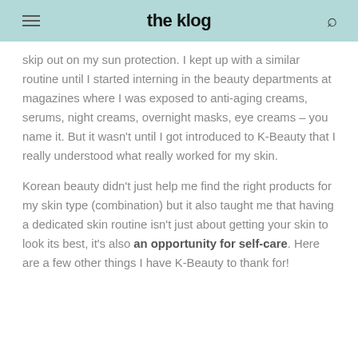the klog
skip out on my sun protection. I kept up with a similar routine until I started interning in the beauty departments at magazines where I was exposed to anti-aging creams, serums, night creams, overnight masks, eye creams – you name it. But it wasn't until I got introduced to K-Beauty that I really understood what really worked for my skin.
Korean beauty didn't just help me find the right products for my skin type (combination) but it also taught me that having a dedicated skin routine isn't just about getting your skin to look its best, it's also an opportunity for self-care. Here are a few other things I have K-Beauty to thank for!